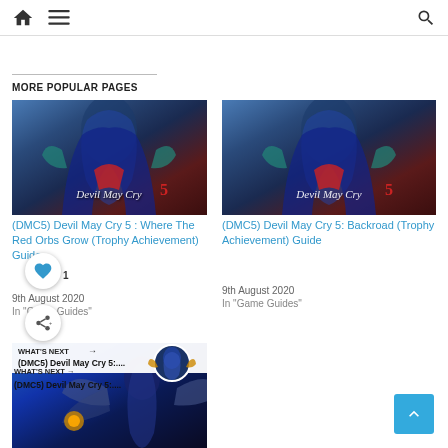🏠 ☰ 🔍
MORE POPULAR PAGES
[Figure (screenshot): Devil May Cry 5 game cover art showing character with blue coat and sword]
(DMC5) Devil May Cry 5 : Where The Red Orbs Grow (Trophy Achievement) Guide
9th August 2020
In "Game Guides"
[Figure (screenshot): Devil May Cry 5 game cover art showing character with blue coat and sword]
(DMC5) Devil May Cry 5: Backroad (Trophy Achievement) Guide
9th August 2020
In "Game Guides"
[Figure (screenshot): Bottom image strip showing action game character]
WHAT'S NEXT → (DMC5) Devil May Cry 5:....